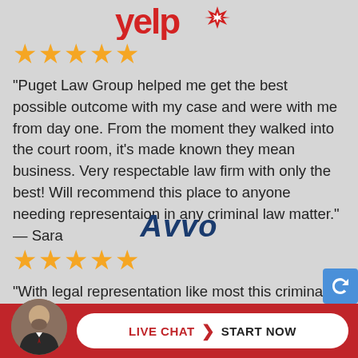[Figure (logo): Yelp logo with red text and burst graphic]
[Figure (infographic): Five orange star rating]
“Puget Law Group helped me get the best possible outcome with my case and were with me from day one. From the moment they walked into the court room, it’s made known they mean business. Very respectable law firm with only the best! Will recommend this place to anyone needing representaion in any criminal law matter.” — Sara
[Figure (logo): Avvo logo in dark blue italic bold text]
[Figure (infographic): Five orange star rating]
“With legal representation like most this criminal
[Figure (photo): Lawyer photo - man with beard in suit]
LIVE CHAT ❯ START NOW